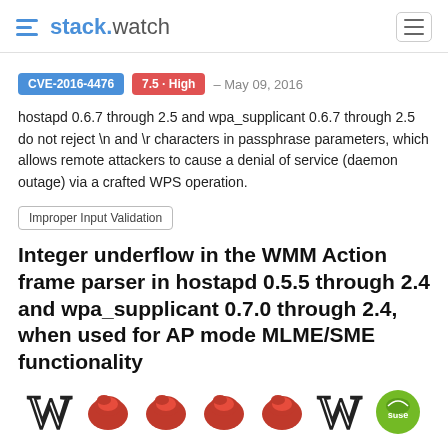stack.watch
CVE-2016-4476  7.5 - High  - May 09, 2016
hostapd 0.6.7 through 2.5 and wpa_supplicant 0.6.7 through 2.5 do not reject \n and \r characters in passphrase parameters, which allows remote attackers to cause a denial of service (daemon outage) via a crafted WPS operation.
Improper Input Validation
Integer underflow in the WMM Action frame parser in hostapd 0.5.5 through 2.4 and wpa_supplicant 0.7.0 through 2.4, when used for AP mode MLME/SME functionality
[Figure (illustration): Row of vendor icons: two W logos, four Red Hat logos, one SUSE logo]
CVE-2015-11-2  June 15, 2015